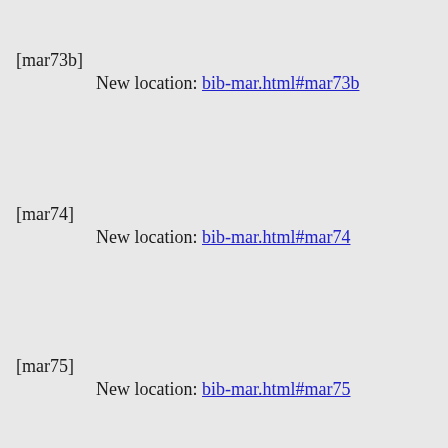[mar73b]
      New location: bib-mar.html#mar73b
[mar74]
      New location: bib-mar.html#mar74
[mar75]
      New location: bib-mar.html#mar75